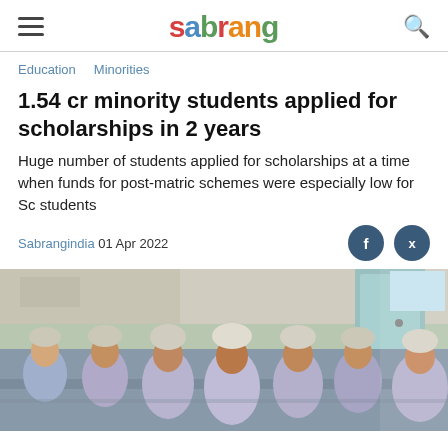sabrang
Education   Minorities
1.54 cr minority students applied for scholarships in 2 years
Huge number of students applied for scholarships at a time when funds for post-matric schemes were especially low for Sc students
Sabrangindia 01 Apr 2022
[Figure (photo): A classroom of female students in light blue/purple uniforms sitting at desks, with a door visible in the background.]